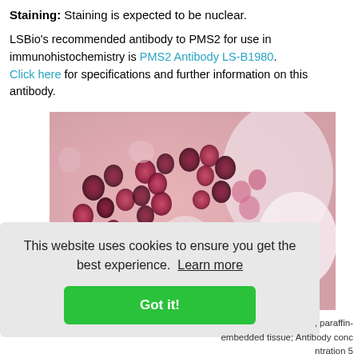Staining: Staining is expected to be nuclear.
LSBio's recommended antibody to PMS2 for use in immunohistochemistry is PMS2 Antibody LS-B1980. Click here for specifications and further information on this antibody.
[Figure (photo): Microscopy image of tissue stained with PMS2 antibody showing nuclear staining pattern. Red/pink and dark purple stained cells visible against a light background.]
This website uses cookies to ensure you get the best experience.  Learn more
Got it!
, paraffin-embedded tissue; Antibody concentration 5 µg/ml